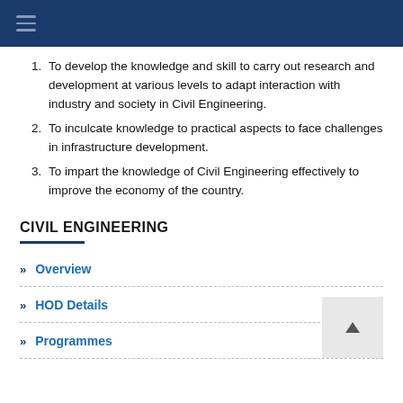≡ (navigation menu)
To develop the knowledge and skill to carry out research and development at various levels to adapt interaction with industry and society in Civil Engineering.
To inculcate knowledge to practical aspects to face challenges in infrastructure development.
To impart the knowledge of Civil Engineering effectively to improve the economy of the country.
CIVIL ENGINEERING
» Overview
» HOD Details
» Programmes